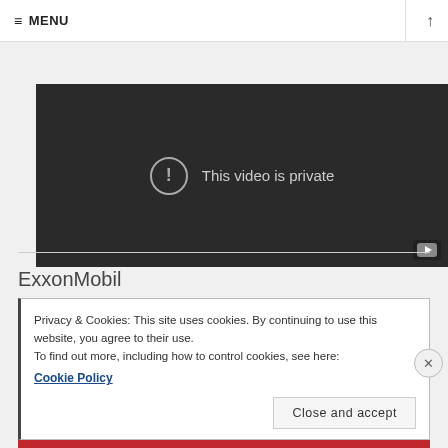≡ MENU
[Figure (screenshot): Dark video player showing 'This video is private' message with exclamation icon and YouTube logo badge]
ExxonMobil
Privacy & Cookies: This site uses cookies. By continuing to use this website, you agree to their use.
To find out more, including how to control cookies, see here:
Cookie Policy
Close and accept